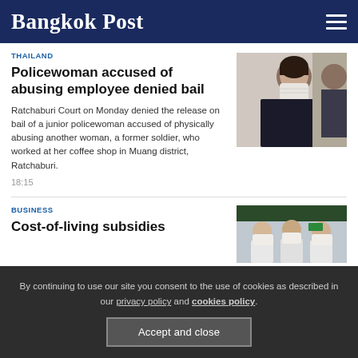Bangkok Post
THAILAND
Policewoman accused of abusing employee denied bail
[Figure (photo): Woman wearing a white face mask, side profile, in a dark setting]
Ratchaburi Court on Monday denied the release on bail of a junior policewoman accused of physically abusing another woman, a former soldier, who worked at her coffee shop in Muang district, Ratchaburi.
18:15
BUSINESS
Cost-of-living subsidies
[Figure (photo): Three people wearing face masks standing indoors]
By continuing to use our site you consent to the use of cookies as described in our privacy policy and cookies policy.
Accept and close